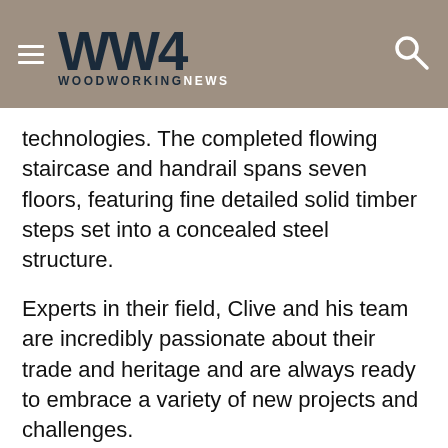WW4 WOODWORKINGNEWS
technologies. The completed flowing staircase and handrail spans seven floors, featuring fine detailed solid timber steps set into a concealed steel structure.
Experts in their field, Clive and his team are incredibly passionate about their trade and heritage and are always ready to embrace a variety of new projects and challenges.
Bespoke wood machining specialists
Renowned experts in specialist and bespoke wood machining, from CNC manufacturing to woodturning, Clive Durose Ltd is equipped to produce unique machined timber components for